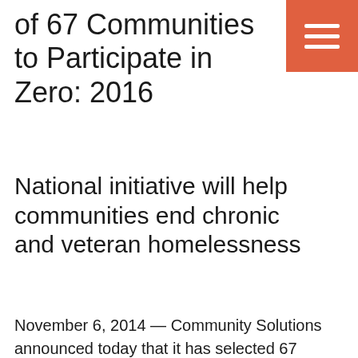of 67 Communities to Participate in Zero: 2016
National initiative will help communities end chronic and veteran homelessness
November 6, 2014 — Community Solutions announced today that it has selected 67 communities to participate in Zero: 2016, a national campaign to end veteran and chronic homelessness in the next two years. The organization said it would work intensively with these communities to meet the federal goals set